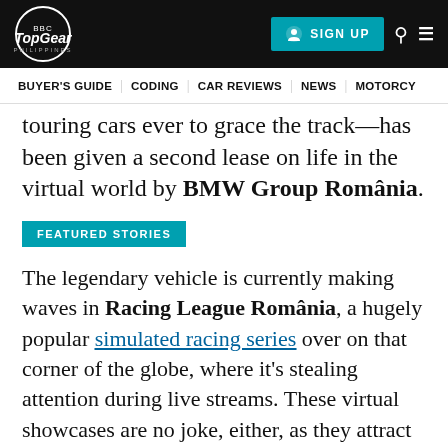Top Gear Philippines — SIGN UP | BUYER'S GUIDE | CODING | CAR REVIEWS | NEWS | MOTORCY
touring cars ever to grace the track—has been given a second lease on life in the virtual world by BMW Group România.
FEATURED STORIES
The legendary vehicle is currently making waves in Racing League România, a hugely popular simulated racing series over on that corner of the globe, where it's stealing attention during live streams. These virtual showcases are no joke, either, as they attract